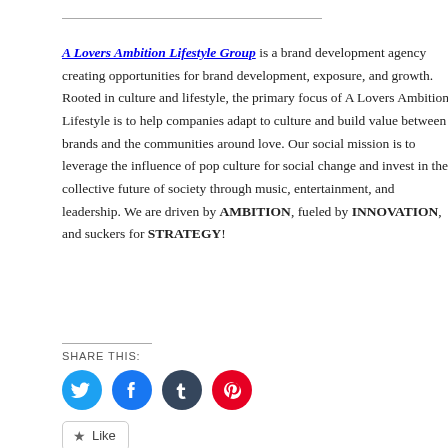A Lovers Ambition Lifestyle Group is a brand development agency creating opportunities for brand development, exposure, and growth. Rooted in culture and lifestyle, the primary focus of A Lovers Ambition Lifestyle is to help companies adapt to culture and build value between brands and the communities around love. Our social mission is to leverage the influence of pop culture for social change and invest in the collective future of society through music, entertainment, and leadership. We are driven by AMBITION, fueled by INNOVATION, and suckers for STRATEGY!
SHARE THIS:
[Figure (other): Social share buttons: Twitter (blue circle), Facebook (blue circle), Tumblr (dark circle), Pinterest (red circle)]
Like — Be the first to like this.
POSTED IN ARTISTS WE LOVE!, NEXT UP | TAGGED 2017, BROOKLYN, DIS...